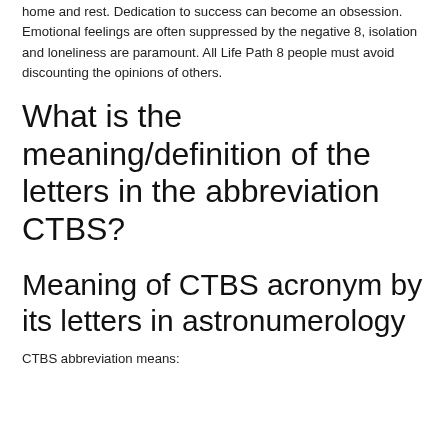home and rest. Dedication to success can become an obsession. Emotional feelings are often suppressed by the negative 8, isolation and loneliness are paramount. All Life Path 8 people must avoid discounting the opinions of others.
What is the meaning/definition of the letters in the abbreviation CTBS?
Meaning of CTBS acronym by its letters in astronumerology
CTBS abbreviation means: